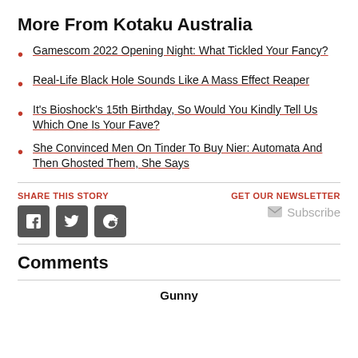More From Kotaku Australia
Gamescom 2022 Opening Night: What Tickled Your Fancy?
Real-Life Black Hole Sounds Like A Mass Effect Reaper
It's Bioshock's 15th Birthday, So Would You Kindly Tell Us Which One Is Your Fave?
She Convinced Men On Tinder To Buy Nier: Automata And Then Ghosted Them, She Says
SHARE THIS STORY
[Figure (infographic): Social share buttons for Facebook, Twitter, Reddit]
GET OUR NEWSLETTER
Subscribe
Comments
Gunny